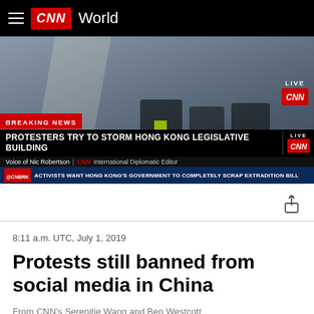CNN World
[Figure (screenshot): CNN Breaking News video screenshot showing protesters trying to storm Hong Kong Legislative Building. Lower third shows: BREAKING NEWS banner, headline 'PROTESTERS TRY TO STORM HONG KONG LEGISLATIVE BUILDING', 'Voice of Nic Robertson | CNN International Diplomatic Editor', ticker 'ACTIVISTS WANT HONG KONG'S GOVERNMENT TO COMPLETELY SCRAP EXTRADITION BILL'. LIVE CNN logo in top right.]
8:11 a.m. UTC, July 1, 2019
Protests still banned from social media in China
From CNN's Serenitie Wang and Ben Westcott